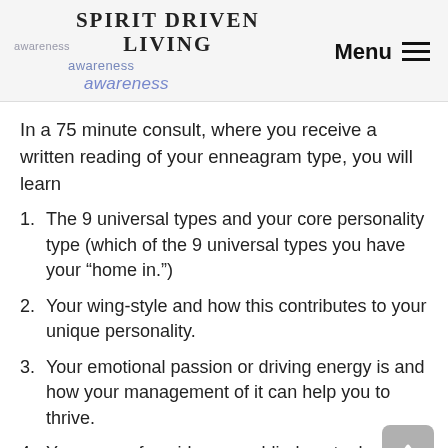SPIRIT DRIVEN LIVING awareness awareness awareness Menu
In a 75 minute consult, where you receive a written reading of your enneagram type, you will learn
1. The 9 universal types and your core personality type (which of the 9 universal types you have your “home in.”)
2. Your wing-style and how this contributes to your unique personality.
3. Your emotional passion or driving energy is and how your management of it can help you to thrive.
4. Your area of avoidance, or blind spot – how